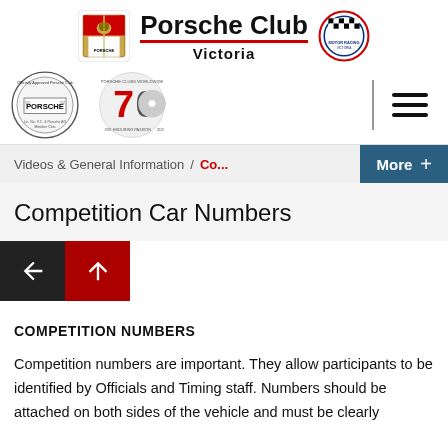[Figure (logo): Porsche Club Victoria header with Porsche crest logo, 'Porsche Club Victoria' text, and a racing club circular badge logo]
[Figure (logo): Two circular logos: Official Approved Porsche Club seal and Porsche Clubs Worldwide 70 years anniversary logo, with hamburger menu icon]
Videos & General Information / Co...
Competition Car Numbers
COMPETITION NUMBERS
Competition numbers are important. They allow participants to be identified by Officials and Timing staff. Numbers should be attached on both sides of the vehicle and must be clearly